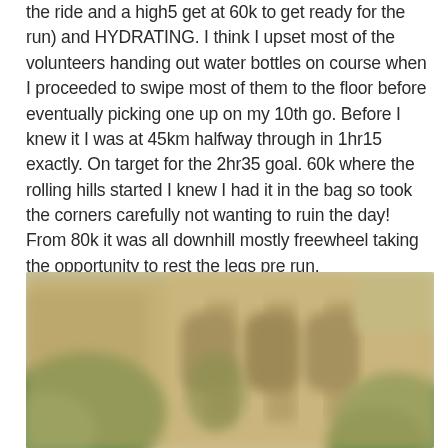the ride and a high5 get at 60k to get ready for the run) and HYDRATING. I think I upset most of the volunteers handing out water bottles on course when I proceeded to swipe most of them to the floor before eventually picking one up on my 10th go. Before I knew it I was at 45km halfway through in 1hr15 exactly. On target for the 2hr35 goal. 60k where the rolling hills started I knew I had it in the bag so took the corners carefully not wanting to ruin the day! From 80k it was all downhill mostly freewheel taking the opportunity to rest the legs pre run.
[Figure (photo): Blurred photograph of a stone building with arched windows and green trees/ivy in the foreground, taken outdoors.]